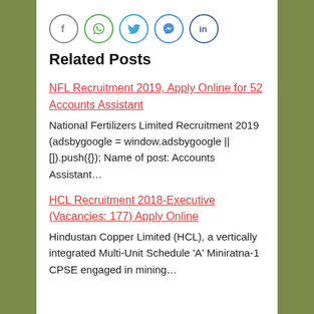[Figure (other): Social media share icons: Facebook, WhatsApp, Twitter, Messenger, LinkedIn — circular outlined icons in a row]
Related Posts
NFL Recruitment 2019, Apply Online for 52 Accounts Assistant
National Fertilizers Limited Recruitment 2019 (adsbygoogle = window.adsbygoogle || []).push({}); Name of post: Accounts Assistant…
HCL Recruitment 2018-Executive (Vacancies: 177) Apply Online
Hindustan Copper Limited (HCL), a vertically integrated Multi-Unit Schedule 'A' Miniratna-1 CPSE engaged in mining…